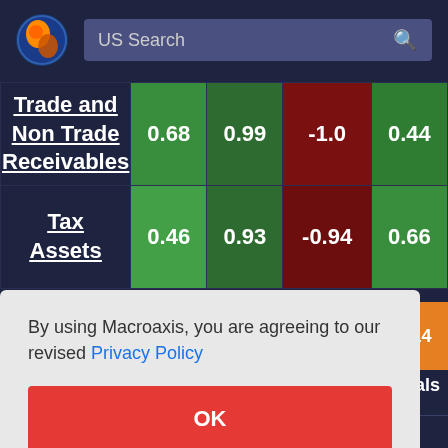[Figure (screenshot): Macroaxis website header with globe logo and US Search bar]
|  | Col1 | Col2 | Col3 | Col4 |
| --- | --- | --- | --- | --- |
| Trade and Non Trade Receivables | 0.68 | 0.99 | -1.0 | 0.44 |
| Tax Assets | 0.46 | 0.93 | -0.94 | 0.66 |
|  |  |  |  | 0.14 |
By using Macroaxis, you are agreeing to our revised Privacy Policy
OK
entals
L3Harris Technologies Account Relationship